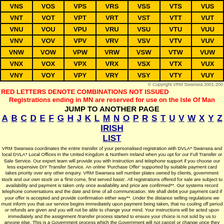| VNS | VOS | VPS | VRS | VSS | VTS | VUS |
| --- | --- | --- | --- | --- | --- | --- |
| VNT | VOT | VPT | VRT | VST | VTT | VUT |
| VNU | VOU | VPU | VRU | VSU | VTU | VUU |
| VNV | VOV | VPV | VRV | VSV | VTV | VUV |
| VNW | VOW | VPW | VRW | VSW | VTW | VUW |
| VNX | VOX | VPX | VRX | VSX | VTX | VUX |
| VNY | VOY | VPY | VRY | VSY | VTY | VUY |
© Copyright VRM Swansea 2001-200
RED LETTERS DENOTE COMBINATIONS NOT ISSUED
Registrations ending in MN are reserved for use on the Isle Of Man
JUMP TO ANOTHER PAGE
A B C D E F G H J K L M N O P R S T U V W X Y Z IRISH LIST
VRM Swansea coordinates the entire transfer of your personalised registration with DVLA* Swansea and local DVLA* Local Offices in the United Kingdom & Northern Ireland when you opt for our Full Transfer or Sale Service. Our expert team will provide you with instruction and telephone support if you choose our less expensive DIY Transfer Service. An online 'Purchase Offer' supported by suitable payment card takes priority over any other enquiry. VRM Swansea sell number plates owned by clients, government stock and our own stock on a 'first come, first served basis'. All registrations offered for sale are subject to availability and payment is taken only once availability and price are confirmed**. Our systems record telephone conversations and the date and time of all communication. We shall debit your payment card if your offer is accepted and provide confirmation either way**. Under the distance selling regulations we must inform you that our service begins immediately upon payment being taken, that no cooling off period or refunds are given and you will not be able to change your mind. Your instructions will be acted upon immediately and the assignment /transfer process started to ensure your choice is not sold by us to anyone else. This is a Government process which the Government will not cancel or change once they receive our